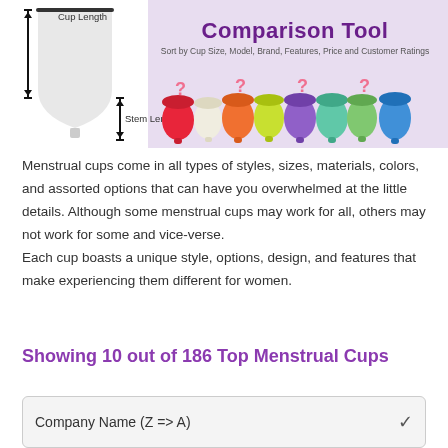[Figure (infographic): Banner showing menstrual cup comparison tool. Left side has a diagram of a cup with 'Cup Length' and 'Stem Length' labeled with arrows. Right side shows 'Comparison Tool' header text with subtitle 'Sort by Cup Size, Model, Brand, Features, Price and Customer Ratings' on a purple/lavender background. Below that are several colorful menstrual cups (red, white, orange, yellow, purple, teal, blue) with pink question marks above them.]
Menstrual cups come in all types of styles, sizes, materials, colors, and assorted options that can have you overwhelmed at the little details. Although some menstrual cups may work for all, others may not work for some and vice-verse. Each cup boasts a unique style, options, design, and features that make experiencing them different for women.
Showing 10 out of 186 Top Menstrual Cups
Company Name (Z => A)